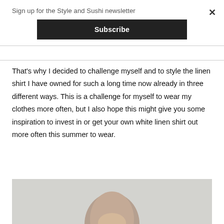Sign up for the Style and Sushi newsletter
Subscribe
×
That's why I decided to challenge myself and to style the linen shirt I have owned for such a long time now already in three different ways. This is a challenge for myself to wear my clothes more often, but I also hope this might give you some inspiration to invest in or get your own white linen shirt out more often this summer to wear.
[Figure (photo): Partial photo of a woman with long brown hair against a light gray background, cropped at the bottom of the page.]